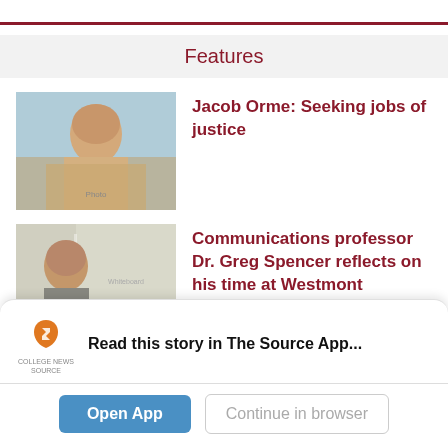Features
Jacob Orme: Seeking jobs of justice
Communications professor Dr. Greg Spencer reflects on his time at Westmont
Read this story in The Source App...
Open App
Continue in browser